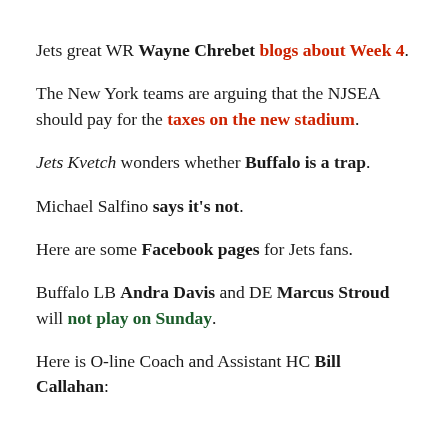Jets great WR Wayne Chrebet blogs about Week 4.
The New York teams are arguing that the NJSEA should pay for the taxes on the new stadium.
Jets Kvetch wonders whether Buffalo is a trap.
Michael Salfino says it's not.
Here are some Facebook pages for Jets fans.
Buffalo LB Andra Davis and DE Marcus Stroud will not play on Sunday.
Here is O-line Coach and Assistant HC Bill Callahan: